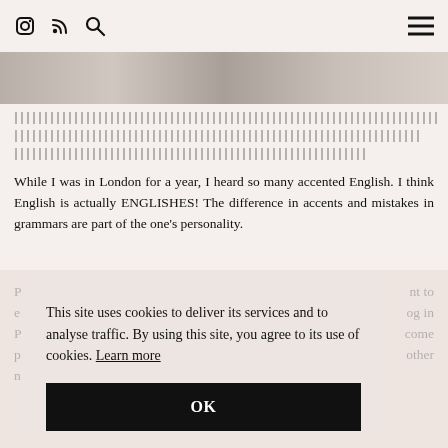[icons: Instagram, RSS, Search] [hamburger menu]
[Figure (photo): Partial image strip at top of page content area]
[Figure (other): Hatching/dashed line pattern separator]
While I was in London for a year, I heard so many accented English. I think English is actually ENGLISHES! The difference in accents and mistakes in grammars are part of the one's personality.
This site uses cookies to deliver its services and to analyse traffic. By using this site, you agree to its use of cookies. Learn more
OK